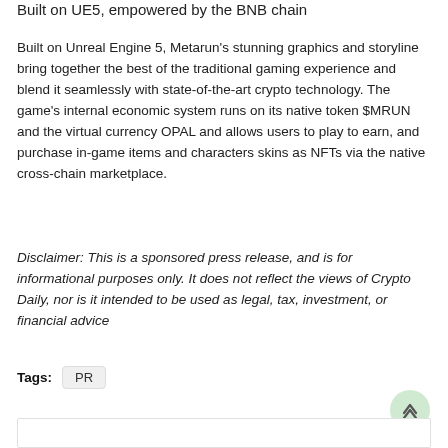Built on UE5, empowered by the BNB chain
Built on Unreal Engine 5, Metarun's stunning graphics and storyline bring together the best of the traditional gaming experience and blend it seamlessly with state-of-the-art crypto technology. The game's internal economic system runs on its native token $MRUN and the virtual currency OPAL and allows users to play to earn, and purchase in-game items and characters skins as NFTs via the native cross-chain marketplace.
Disclaimer: This is a sponsored press release, and is for informational purposes only. It does not reflect the views of Crypto Daily, nor is it intended to be used as legal, tax, investment, or financial advice
Tags: PR